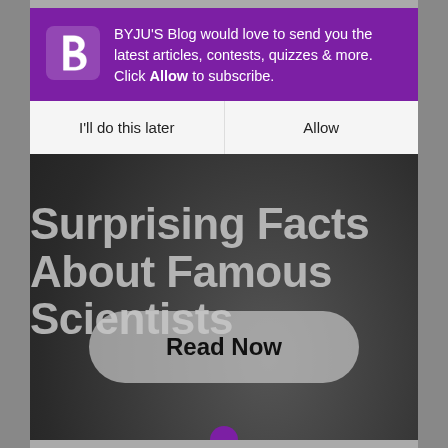[Figure (screenshot): BYJU'S Blog push notification popup overlay on a dark article page. Purple notification box at top with BYJU'S logo, message text, and two buttons: 'I'll do this later' and 'Allow'. Below is the article title 'Surprising Facts About Famous Scientists' in large bold grey text, a 'Read Now' rounded button, and a partial bottom icon.]
BYJU'S Blog would love to send you the latest articles, contests, quizzes & more. Click Allow to subscribe.
I'll do this later
Allow
Surprising Facts About Famous Scientists
Read Now